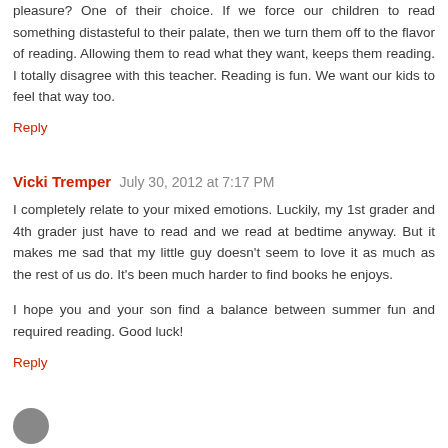pleasure? One of their choice. If we force our children to read something distasteful to their palate, then we turn them off to the flavor of reading. Allowing them to read what they want, keeps them reading. I totally disagree with this teacher. Reading is fun. We want our kids to feel that way too.
Reply
Vicki Tremper  July 30, 2012 at 7:17 PM
I completely relate to your mixed emotions. Luckily, my 1st grader and 4th grader just have to read and we read at bedtime anyway. But it makes me sad that my little guy doesn't seem to love it as much as the rest of us do. It's been much harder to find books he enjoys.
I hope you and your son find a balance between summer fun and required reading. Good luck!
Reply